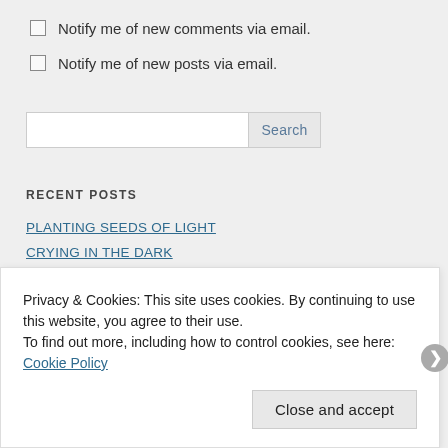Notify me of new comments via email.
Notify me of new posts via email.
RECENT POSTS
PLANTING SEEDS OF LIGHT
CRYING IN THE DARK
GIFTS FROM GAIA
Privacy & Cookies: This site uses cookies. By continuing to use this website, you agree to their use.
To find out more, including how to control cookies, see here: Cookie Policy